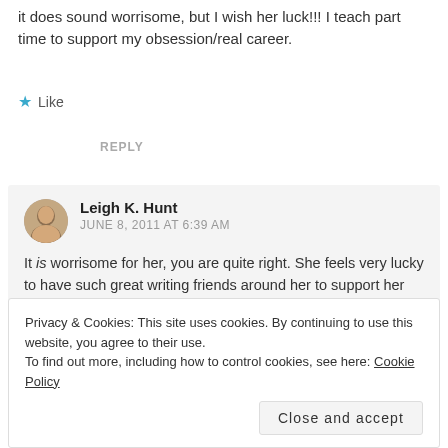it does sound worrisome, but I wish her luck!!! I teach part time to support my obsession/real career.
★ Like
REPLY
Leigh K. Hunt
JUNE 8, 2011 AT 6:39 AM
It is worrisome for her, you are quite right. She feels very lucky to have such great writing friends around her to support her with her passions. But it's extremely tough not
REPLY
Privacy & Cookies: This site uses cookies. By continuing to use this website, you agree to their use.
To find out more, including how to control cookies, see here: Cookie Policy
Close and accept